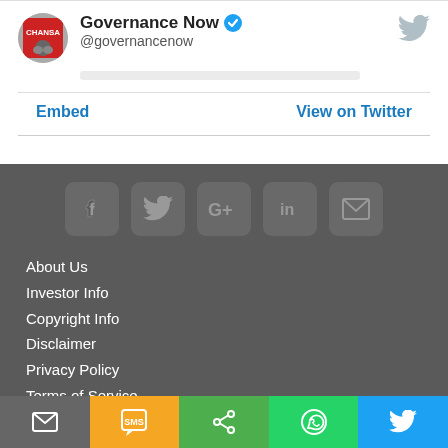[Figure (screenshot): Twitter card showing Governance Now account with verified badge and @governancenow handle, with Embed and View on Twitter links]
[Figure (infographic): Footer section with social media icons (Facebook, Twitter, Google+, LinkedIn, Email) and footer navigation links including About Us, Investor Info, Copyright Info, Disclaimer, Privacy Policy, Terms of Service, Advertise with us, Careers]
[Figure (infographic): Bottom share bar with email, SMS, share, WhatsApp, and Twitter icons in colored segments]